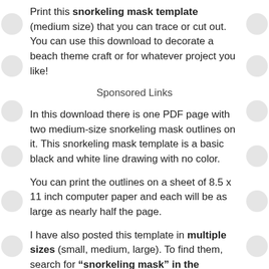Print this snorkeling mask template (medium size) that you can trace or cut out. You can use this download to decorate a beach theme craft or for whatever project you like!
Sponsored Links
In this download there is one PDF page with two medium-size snorkeling mask outlines on it. This snorkeling mask template is a basic black and white line drawing with no color.
You can print the outlines on a sheet of 8.5 x 11 inch computer paper and each will be as large as nearly half the page.
I have also posted this template in multiple sizes (small, medium, large). To find them, search for “snorkeling mask” in the Templates